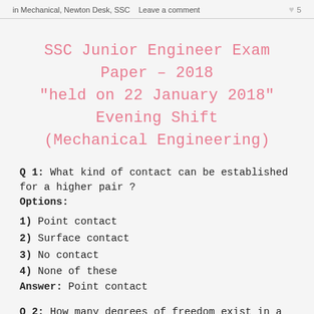in Mechanical, Newton Desk, SSC   Leave a comment   ♥ 5
SSC Junior Engineer Exam Paper – 2018 "held on 22 January 2018" Evening Shift (Mechanical Engineering)
Q 1: What kind of contact can be established for a higher pair ?
Options:
1) Point contact
2) Surface contact
3) No contact
4) None of these
Answer: Point contact
Q 2: How many degrees of freedom exist in a free body in space ?
Options:
1) 3
2) 4